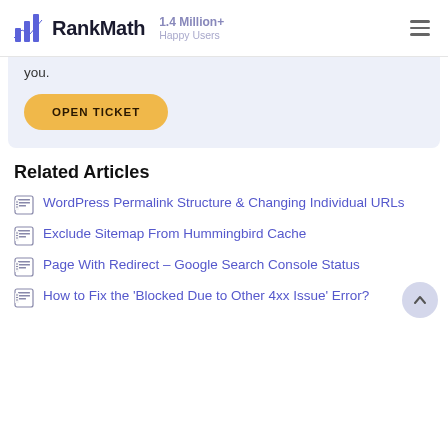RankMath — 1.4 Million+ Happy Users
you.
OPEN TICKET
Related Articles
WordPress Permalink Structure & Changing Individual URLs
Exclude Sitemap From Hummingbird Cache
Page With Redirect – Google Search Console Status
How to Fix the 'Blocked Due to Other 4xx Issue' Error?